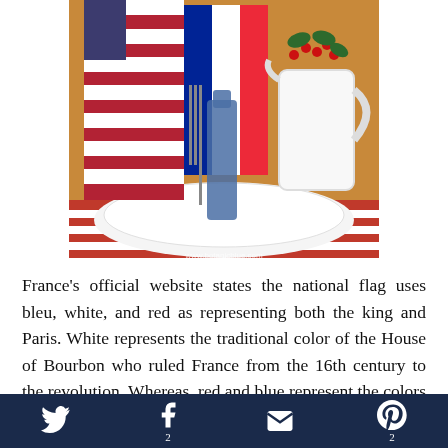[Figure (photo): Table setting with red and white striped American flag, blue glass bottle, white pitcher with red berries and greenery, on a white plate. Watermark: www.botanicblue.com]
France's official website states the national flag uses bleu, white, and red as representing both the king and Paris. White represents the traditional color of the House of Bourbon who ruled France from the 16th century to the revolution. Whereas, red and blue represent the colors that were flown by revolutionaries
Twitter | Facebook 2 | Email | Pinterest 2